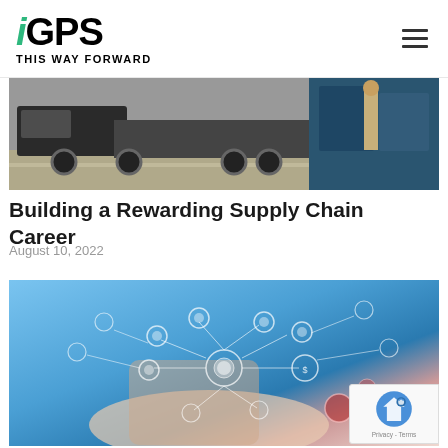iGPS THIS WAY FORWARD
[Figure (photo): Logistics/supply chain scene with a large truck and a person standing in a parking/warehouse lot]
Building a Rewarding Supply Chain Career
August 10, 2022
[Figure (photo): Digital supply chain network concept — a hand holding a tablet with interconnected icons/nodes overlaid on a blue-toned background]